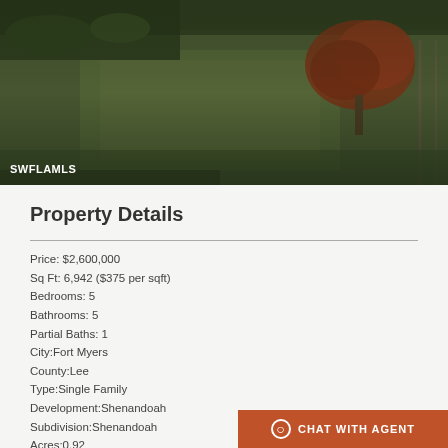[Figure (photo): Aerial view of a large property with green lawn, red flowering tree (Royal Poinciana), and surrounding vegetation. SWFLAMLS watermark in lower left corner.]
Property Details
Price: $2,600,000
Sq Ft: 6,942 ($375 per sqft)
Bedrooms: 5
Bathrooms: 5
Partial Baths: 1
City:Fort Myers
County:Lee
Type:Single Family
Development:Shenandoah
Subdivision:Shenandoah
Acres:0.92
Virtual Tour/Floorplan:View
Year Built:2008
Listing Number:XXXXXXXX